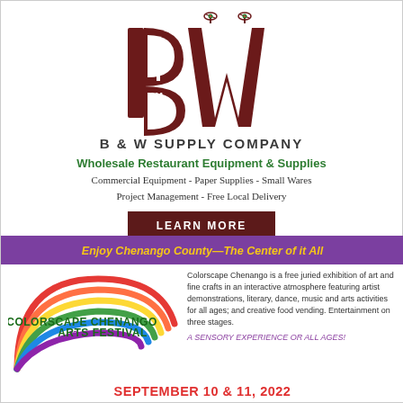[Figure (logo): B & W Supply Company logo with large stylized BW letters in dark red/maroon, fork and spoon motif, martini glass accents]
B & W SUPPLY COMPANY
Wholesale Restaurant Equipment & Supplies
Commercial Equipment - Paper Supplies - Small Wares
Project Management  - Free Local Delivery
LEARN MORE
Enjoy Chenango County—The Center of it All
[Figure (logo): Colorscape Chenango 28th Arts Festival logo with rainbow swirl design in red, orange, yellow, green, purple colors]
Colorscape Chenango is a free juried exhibition of art and fine crafts in an interactive atmosphere featuring artist demonstrations, literary, dance, music and arts activities for all ages; and creative food vending. Entertainment on three stages.
A SENSORY EXPERIENCE OR ALL AGES!
SEPTEMBER 10 & 11, 2022